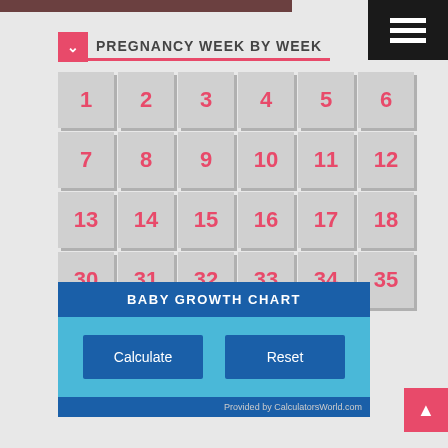PREGNANCY WEEK BY WEEK
[Figure (other): Grid of pregnancy week numbers 1-18, 30-40 as clickable tiles]
BABY GROWTH CHART
Calculate | Reset
Provided by CalculatorsWorld.com